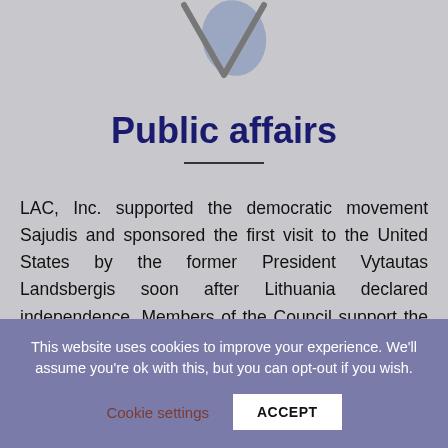[Figure (logo): Partial logo/emblem at top center, showing a V-shape outline in gray with a blue abstract shape behind it]
Public affairs
LAC, Inc. supported the democratic movement Sajudis and sponsored the first visit to the United States by the former President Vytautas Landsbergis soon after Lithuania declared independence. Members of the Council support the idea of forming
This website uses cookies to improve your experience. We'll assume you're ok with this, but you can opt-out if you wish.
Cookie settings  ACCEPT